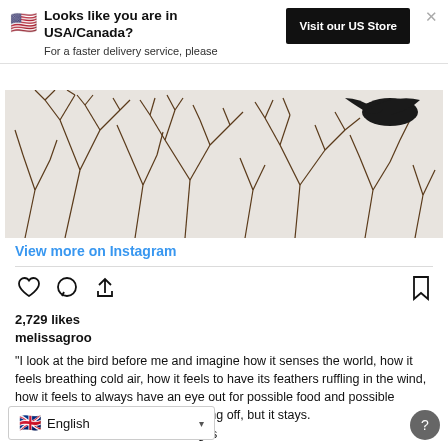Looks like you are in USA/Canada?
For a faster delivery service, please
Visit our US Store
[Figure (photo): Winter branches with snow, a dark bird visible in the upper right corner]
View more on Instagram
2,729 likes
melissagroo
“I look at the bird before me and imagine how it senses the world, how it feels breathing cold air, how it feels to have its feathers ruffling in the wind, how it feels to always have an eye out for possible food and possible predators. The bird s[...] d from flying off, but it stays. [...] within, the bird I am seeing is
English